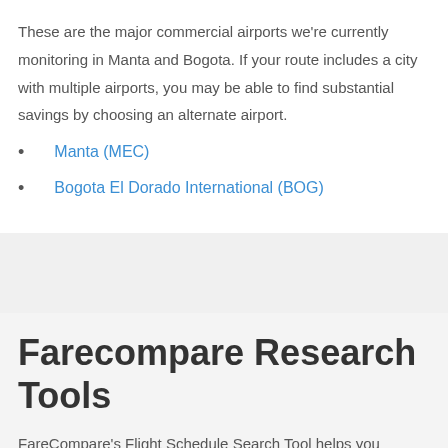These are the major commercial airports we're currently monitoring in Manta and Bogota. If your route includes a city with multiple airports, you may be able to find substantial savings by choosing an alternate airport.
Manta (MEC)
Bogota El Dorado International (BOG)
Farecompare Research Tools
FareCompare's Flight Schedule Search Tool helps you